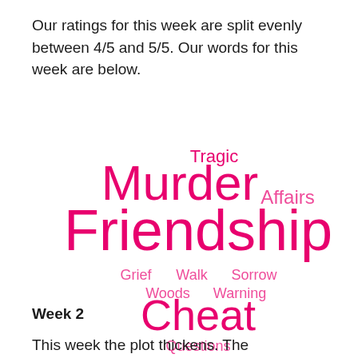Our ratings for this week are split evenly between 4/5 and 5/5. Our words for this week are below.
[Figure (infographic): Word cloud with pink/magenta words related to a book plot: Murder (large), Friendship (largest), Cheat (large), Affairs (medium), Tragic (medium), Grief (small), Walk (small), Sorrow (small), Woods (small), Warning (small), Questions (small)]
Week 2
This week the plot thickens. The introduction of